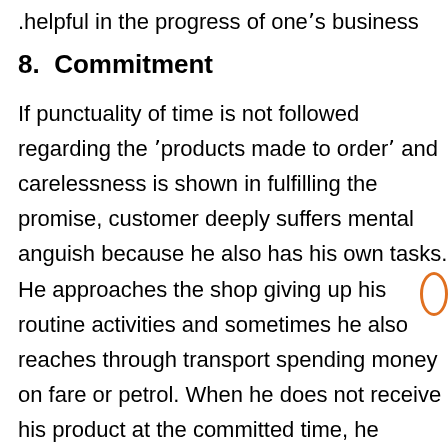.helpful in the progress of one's business
8. Commitment
If punctuality of time is not followed regarding the 'products made to order' and carelessness is shown in fulfilling the promise, customer deeply suffers mental anguish because he also has his own tasks. He approaches the shop giving up his routine activities and sometimes he also reaches through transport spending money on fare or petrol. When he does not receive his product at the committed time, he develops the feelings of great distrust and he may not visit the shop